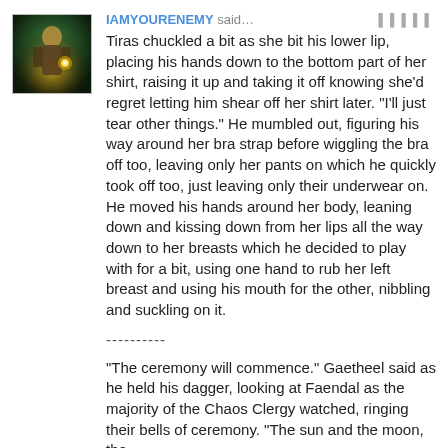[Figure (photo): Avatar image of a fantasy warrior/mage character with greenish and golden tones]
IAMYOURENEMY said…
Tiras chuckled a bit as she bit his lower lip, placing his hands down to the bottom part of her shirt, raising it up and taking it off knowing she'd regret letting him shear off her shirt later. "I'll just tear other things." He mumbled out, figuring his way around her bra strap before wiggling the bra off too, leaving only her pants on which he quickly took off too, just leaving only their underwear on. He moved his hands around her body, leaning down and kissing down from her lips all the way down to her breasts which he decided to play with for a bit, using one hand to rub her left breast and using his mouth for the other, nibbling and suckling on it.
----------
"The ceremony will commence." Gaetheel said as he held his dagger, looking at Faendal as the majority of the Chaos Clergy watched, ringing their bells of ceremony. "The sun and the moon, the